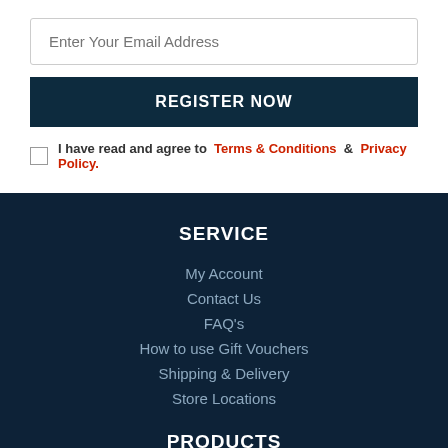Enter Your Email Address
REGISTER NOW
I have read and agree to Terms & Conditions & Privacy Policy.
SERVICE
My Account
Contact Us
FAQ's
How to use Gift Vouchers
Shipping & Delivery
Store Locations
PRODUCTS